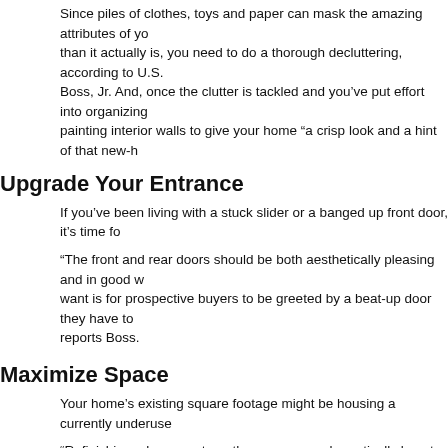Since piles of clothes, toys and paper can mask the amazing attributes of yo... than it actually is, you need to do a thorough decluttering, according to U.S. Boss, Jr. And, once the clutter is tackled and you've put effort into organizing painting interior walls to give your home “a crisp look and a hint of that new-h
Upgrade Your Entrance
If you’ve been living with a stuck slider or a banged up front door, it’s time fo
“The front and rear doors should be both aesthetically pleasing and in good w... want is for prospective buyers to be greeted by a beat-up door they have to reports Boss.
Maximize Space
Your home’s existing square footage might be housing a currently underuse
“Refinishing a basement or other space can dramatically boost the value of a News & World Report contributor Maryalene LaPonsie.
Retire Your Vacuum
Wall-to-wall carpeting is no longer a highly sought after home feature giving popular choice, according to Dahlstrom.
“While the idea of removing carpeting and refinishing wood floors on your ow with the proper tools this DIY project can be done on a budget. From preppin